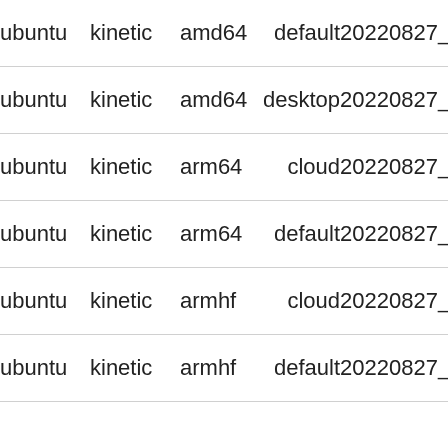| ubuntu | kinetic | amd64 | default | 20220827_07 |
| ubuntu | kinetic | amd64 | desktop | 20220827_07 |
| ubuntu | kinetic | arm64 | cloud | 20220827_07 |
| ubuntu | kinetic | arm64 | default | 20220827_08 |
| ubuntu | kinetic | armhf | cloud | 20220827_07 |
| ubuntu | kinetic | armhf | default | 20220827_07 |